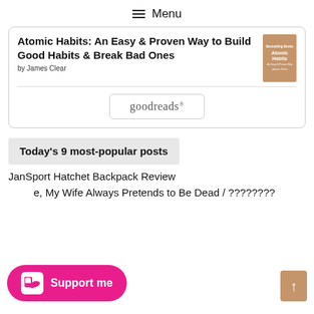Menu
[Figure (screenshot): Goodreads widget card showing book 'Atomic Habits: An Easy & Proven Way to Build Good Habits & Break Bad Ones' by James Clear with book cover thumbnail and goodreads button]
Today's 9 most-popular posts
JanSport Hatchet Backpack Review
e, My Wife Always Pretends to Be Dead / ????????